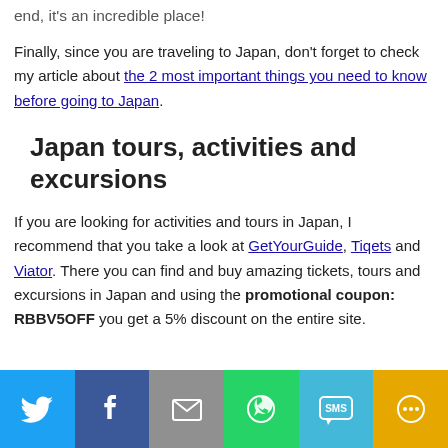end, it's an incredible place!
Finally, since you are traveling to Japan, don't forget to check my article about the 2 most important things you need to know before going to Japan.
Japan tours, activities and excursions
If you are looking for activities and tours in Japan, I recommend that you take a look at GetYourGuide, Tiqets and Viator. There you can find and buy amazing tickets, tours and excursions in Japan and using the promotional coupon: RBBV5OFF you get a 5% discount on the entire site.
[Figure (infographic): Social media share bar with Twitter, Facebook, Email, WhatsApp, SMS, and More buttons]